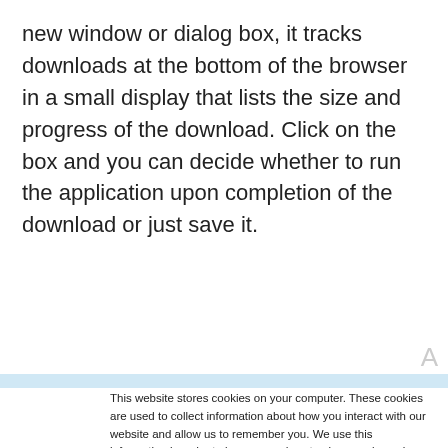new window or dialog box, it tracks downloads at the bottom of the browser in a small display that lists the size and progress of the download. Click on the box and you can decide whether to run the application upon completion of the download or just save it.
This website stores cookies on your computer. These cookies are used to collect information about how you interact with our website and allow us to remember you. We use this information in order to improve and customize your browsing experience and for analytics and metrics about our visitors both on this website and other media. To find out more about the cookies we use, see our Privacy Policy. California residents have the right to direct us not to sell their personal information to third parties by filing an Opt-Out Request: Do Not Sell My Personal Info.